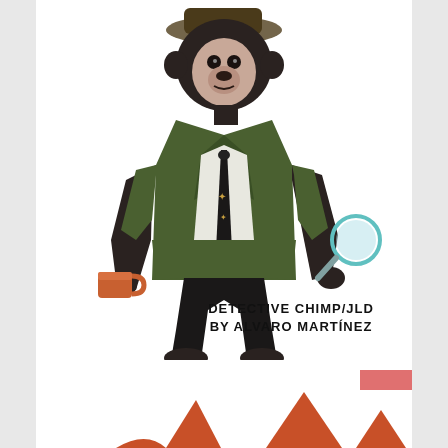[Figure (illustration): Illustration of a chimpanzee dressed as a detective wearing a green suit jacket, white shirt, dark tie, and hat. The chimp holds a magnifying glass in one hand and a coffee mug in the other, walking forward.]
DETECTIVE CHIMP/JLD BY ALVARO MARTÍNEZ
[Figure (illustration): Partial illustration at the bottom of the page showing what appears to be orange/red animal ears or horns peeking up from the bottom edge.]